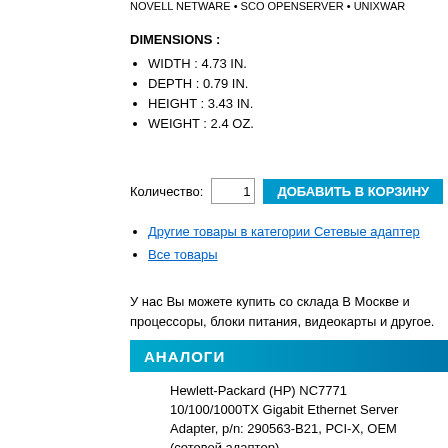NOVELL NETWARE • SCO OPENSERVER • UNIXWARE
DIMENSIONS :
WIDTH : 4.73 IN.
DEPTH : 0.79 IN.
HEIGHT : 3.43 IN.
WEIGHT : 2.4 OZ.
Количество: 1  ДОБАВИТЬ В КОРЗИНУ
Другие товары в категории Сетевые адаптеры
Все товары
У нас Вы можете купить со склада В Москве и процессоры, блоки питания, видеокарты и другое.
АНАЛОГИ
Hewlett-Packard (HP) NC7771 10/100/1000TX Gigabit Ethernet Server Adapter, p/n: 290563-B21, PCI-X, OEM (сетевой адаптер)
23891 руб.
Наличие товара: поставляется под заказ
посмотреть